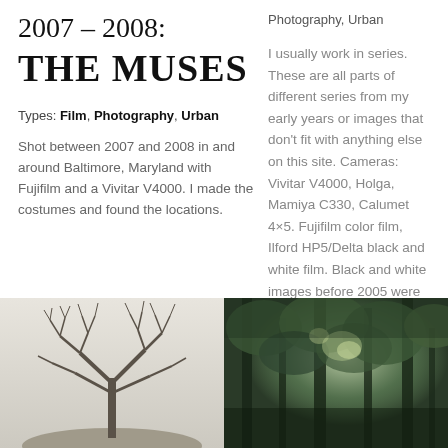2007 – 2008: THE MUSES
Types: Film, Photography, Urban
Shot between 2007 and 2008 in and around Baltimore, Maryland with Fujifilm and a Vivitar V4000. I made the costumes and found the locations.
Photography, Urban
I usually work in series. These are all parts of different series from my early years or images that don't fit with anything else on this site. Cameras: Vivitar V4000, Holga, Mamiya C330, Calumet 4×5. Fujifilm color film, Ilford HP5/Delta black and white film. Black and white images before 2005 were developed and printed by [...]
[Figure (photo): Black and white photo of a bare leafless tree against a pale grey sky]
[Figure (photo): Dark green photo looking up through forest tree canopy with light filtering through leaves]